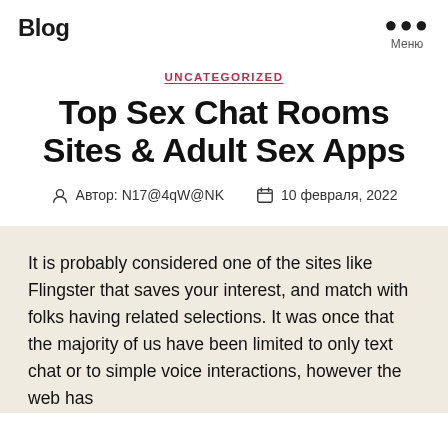Blog
UNCATEGORIZED
Top Sex Chat Rooms Sites & Adult Sex Apps
Автор: N17@4qW@NK   10 февраля, 2022
It is probably considered one of the sites like Flingster that saves your interest, and match with folks having related selections. It was once that the majority of us have been limited to only text chat or to simple voice interactions, however the web has